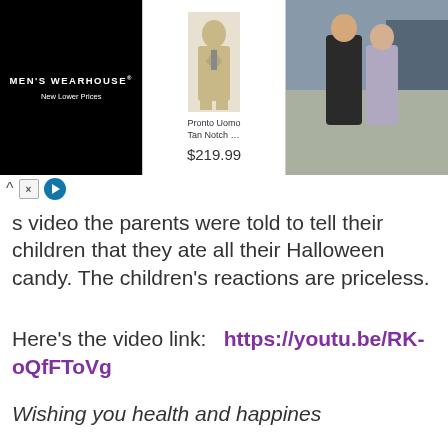[Figure (screenshot): Advertisement banner for Men's Wearhouse showing a suit product (Pronto Uomo Tan Notch...) priced at $219.99 and a couple in formalwear on the right]
s video the parents were told to tell their children that they ate all their Halloween candy. The children's reactions are priceless.
Here's the video link:    https://youtu.be/RK-oQfFToVg
Wishing you health and happines